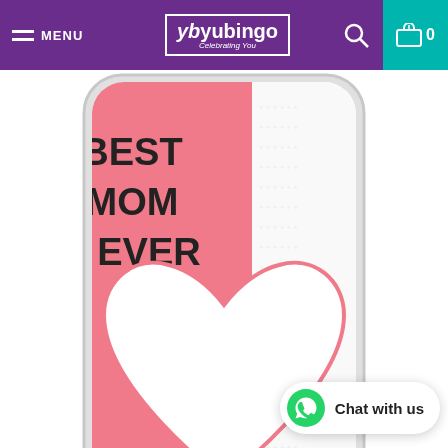MENU | yb yubingo | Search | Cart 0
[Figure (photo): Phone case with pink and white dotted design reading BEST MOM EVER with a large heart shape]
LOVE MOM BACK COVER FOR TECNO CAMON I TWIN
Coming Soon
[Figure (photo): Partial view of a second phone case from below]
Chat with us